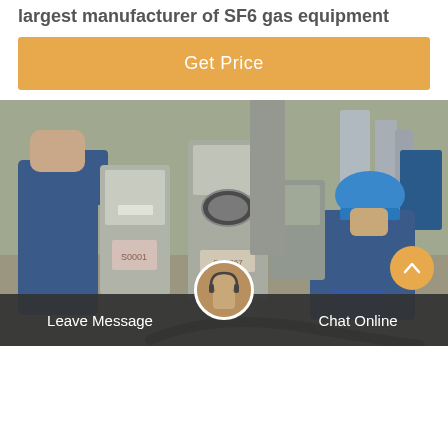largest manufacturer of SF6 gas equipment
Get Price
[Figure (photo): Two workers in blue coveralls working on SF6 gas equipment panels in an industrial facility. One worker on the right is wearing a blue hard hat and crouching near machinery.]
Leave Message   Chat Online